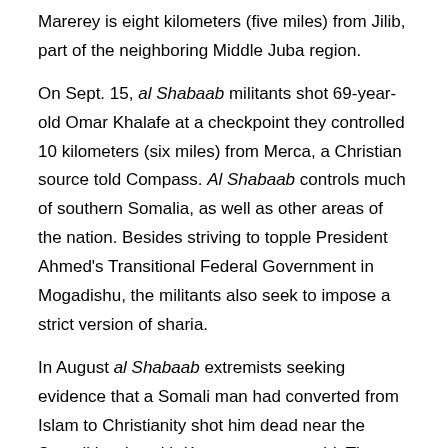Marerey is eight kilometers (five miles) from Jilib, part of the neighboring Middle Juba region.
On Sept. 15, al Shabaab militants shot 69-year-old Omar Khalafe at a checkpoint they controlled 10 kilometers (six miles) from Merca, a Christian source told Compass. Al Shabaab controls much of southern Somalia, as well as other areas of the nation. Besides striving to topple President Ahmed's Transitional Federal Government in Mogadishu, the militants also seek to impose a strict version of sharia.
In August al Shabaab extremists seeking evidence that a Somali man had converted from Islam to Christianity shot him dead near the Somali border with Kenya, sources said. The rebels killed 41-year-old Ahmed Matan in Bulahawa, Somalia on Aug. 18.
In Mahadday Weyne, 100 kilometers (62 miles) north of the Somali capital of Mogadishu, al Shabaab Islamists on July 20 shot to death another convert from Islam, Mohammed Sheikh Abdisaman, at 7 a.m.